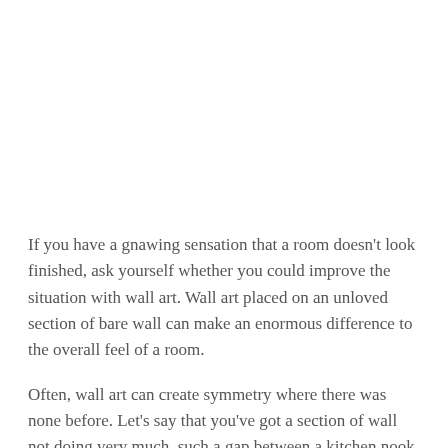If you have a gnawing sensation that a room doesn't look finished, ask yourself whether you could improve the situation with wall art. Wall art placed on an unloved section of bare wall can make an enormous difference to the overall feel of a room.
Often, wall art can create symmetry where there was none before. Let's say that you've got a section of wall not doing very much, such a gap between a kitchen nook and a hallway. You could leave the wall space blank, but it's usually a much